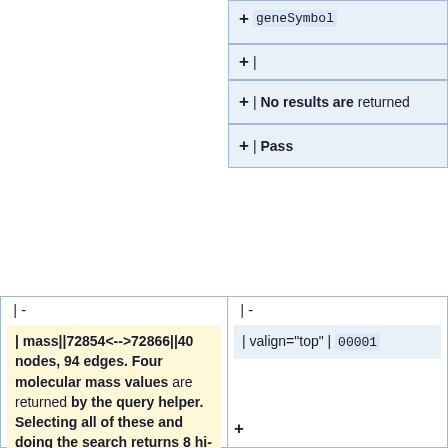+ <pre>geneSymbol</pre>
+ |
+ | No results are returned
+ | Pass
|-
|-
| mass||72854<-->72866||40 nodes, 94 edges. Four molecular mass values are returned by the query helper.  Selecting all of these and doing the search returns 8 hi-lited nodes and their interactors.  The 72855 mass node returns 1 node with that mass and two other members of the same canonical group.   Two of the nodes are returned with i.query of Q7KSF4.  FAIL.
| valign="top" | <pre>00001</pre>
+